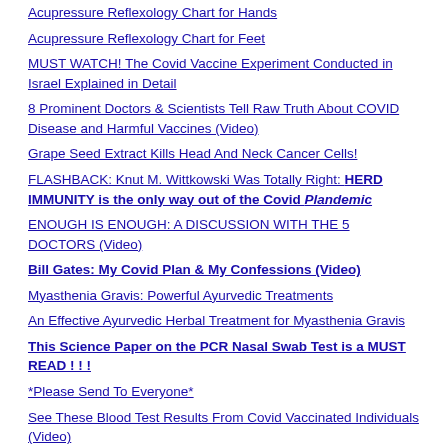Acupressure Reflexology Chart for Hands
Acupressure Reflexology Chart for Feet
MUST WATCH! The Covid Vaccine Experiment Conducted in Israel Explained in Detail
8 Prominent Doctors & Scientists Tell Raw Truth About COVID Disease and Harmful Vaccines (Video)
Grape Seed Extract Kills Head And Neck Cancer Cells!
FLASHBACK: Knut M. Wittkowski Was Totally Right: HERD IMMUNITY is the only way out of the Covid Plandemic
ENOUGH IS ENOUGH: A DISCUSSION WITH THE 5 DOCTORS (Video)
Bill Gates: My Covid Plan & My Confessions (Video)
Myasthenia Gravis: Powerful Ayurvedic Treatments
An Effective Ayurvedic Herbal Treatment for Myasthenia Gravis
This Science Paper on the PCR Nasal Swab Test is a MUST READ ! ! !
*Please Send To Everyone*
See These Blood Test Results From Covid Vaccinated Individuals (Video)